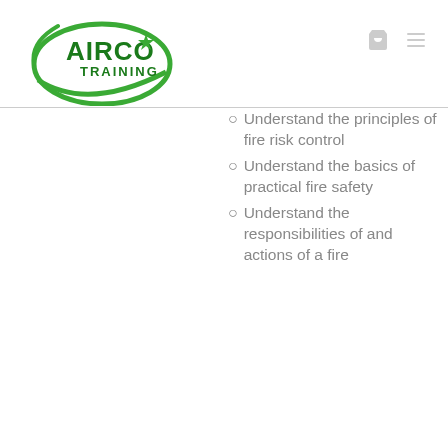[Figure (logo): AIRCO Training logo — green oval with star and green text]
Understand the principles of fire risk control
Understand the basics of practical fire safety
Understand the responsibilities of and actions of a fire...